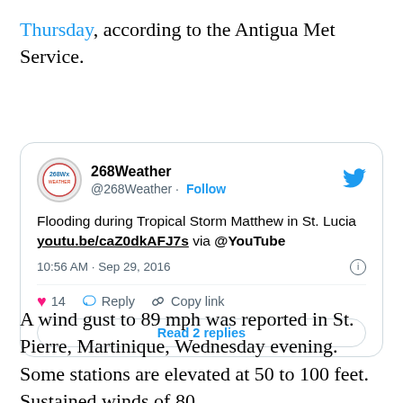Thursday, according to the Antigua Met Service.
[Figure (screenshot): Embedded tweet from @268Weather showing: 'Flooding during Tropical Storm Matthew in St. Lucia youtu.be/caZ0dkAFJ7s via @YouTube', posted 10:56 AM · Sep 29, 2016, with 14 likes, Reply, Copy link, and Read 2 replies button.]
A wind gust to 89 mph was reported in St. Pierre, Martinique, Wednesday evening. Some stations are elevated at 50 to 100 feet. Sustained winds of 80...